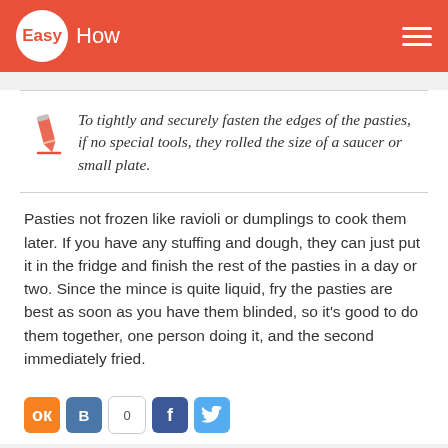EasyHow
To tightly and securely fasten the edges of the pasties, if no special tools, they rolled the size of a saucer or small plate.
Pasties not frozen like ravioli or dumplings to cook them later. If you have any stuffing and dough, they can just put it in the fridge and finish the rest of the pasties in a day or two. Since the mince is quite liquid, fry the pasties are best as soon as you have them blinded, so it's good to do them together, one person doing it, and the second immediately fried.